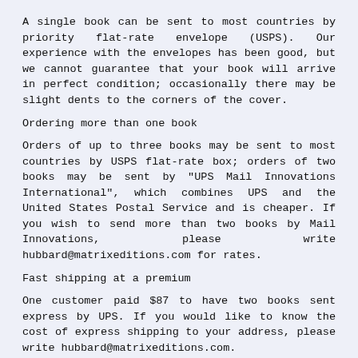A single book can be sent to most countries by priority flat-rate envelope (USPS). Our experience with the envelopes has been good, but we cannot guarantee that your book will arrive in perfect condition; occasionally there may be slight dents to the corners of the cover.
Ordering more than one book
Orders of up to three books may be sent to most countries by USPS flat-rate box; orders of two books may be sent by "UPS Mail Innovations International", which combines UPS and the United States Postal Service and is cheaper. If you wish to send more than two books by Mail Innovations, please write hubbard@matrixeditions.com for rates.
Fast shipping at a premium
One customer paid $87 to have two books sent express by UPS. If you would like to know the cost of express shipping to your address, please write hubbard@matrixeditions.com.